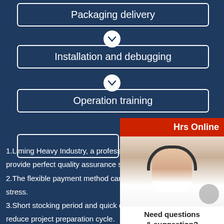Packaging delivery
Installation and debugging
Operation training
[Figure (infographic): Live chat popup overlay showing workers in hard hats and text 'LIVE CHAT - Click for a Free Consultation' with Chat now and Chat later buttons]
[Figure (infographic): Right side panel showing customer service agent with headset, '24 Hrs Online', 'Need questions & suggestion?', 'Chat Now' button, and 'Enquire' at bottom]
1.Liming Heavy Industry, a professional manufacturer, provide perfect quality assurance system.
2.The flexible payment method can help you relieve stress.
3.Short stocking period and quick delivery can help reduce project preparation cycle.
4.There are many transportation ways including